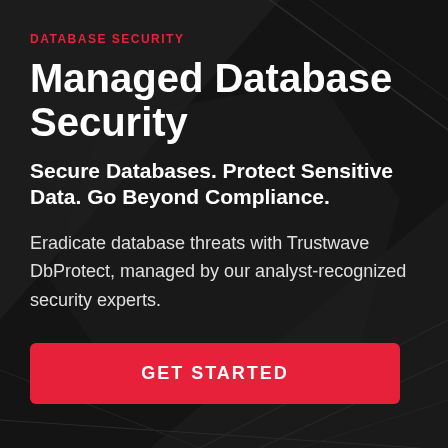DATABASE SECURITY
Managed Database Security
Secure Databases. Protect Sensitive Data. Go Beyond Compliance.
Eradicate database threats with Trustwave DbProtect, managed by our analyst-recognized security experts.
GET STARTED